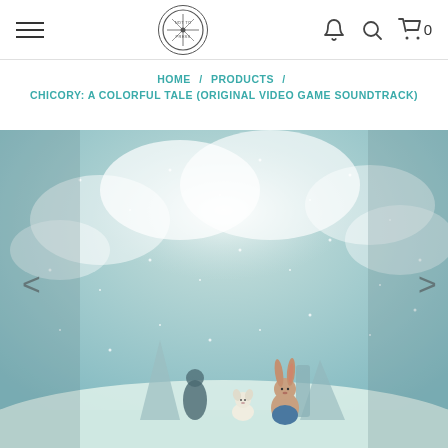Navigation bar with hamburger menu, logo, bell icon, search icon, cart (0)
HOME / PRODUCTS / CHICORY: A COLORFUL TALE (ORIGINAL VIDEO GAME SOUNDTRACK)
[Figure (illustration): Illustrated scene from Chicory: A Colorful Tale video game. Two cartoon animal characters — a small white dog-like creature and a larger rabbit wearing a blue outfit — stand on a snowy hilltop. The background shows a dramatic pale teal sky with soft clouds and falling snow particles. There is a dark silhouetted figure to their left and a stone monolith. The overall palette is muted blue-greens and whites. Navigation arrows (< >) appear on left and right sides of the image.]